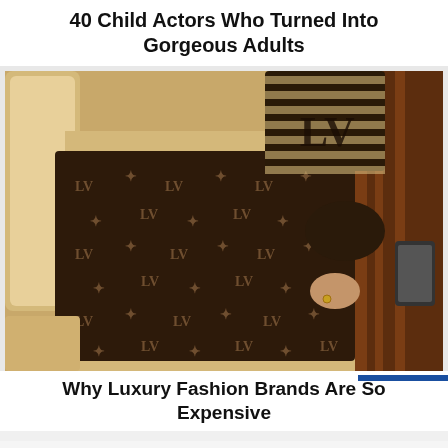40 Child Actors Who Turned Into Gorgeous Adults
[Figure (photo): Person sleeping on luxury jet seat covered with a Louis Vuitton monogram blanket and holding a Louis Vuitton bag as a pillow]
Why Luxury Fashion Brands Are So Expensive
< 1 SHARES
[Figure (infographic): Social share bar with Twitter, Facebook (1 share), and LinkedIn buttons, plus share count showing < 1 SHARES]